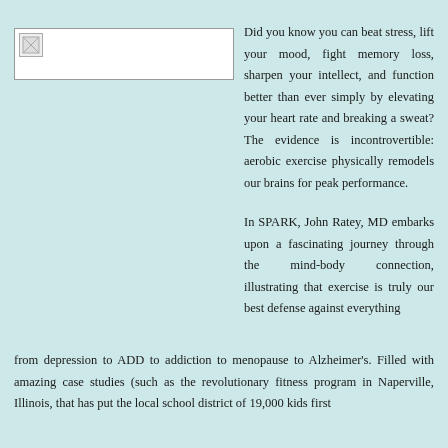[Figure (photo): Broken image placeholder (book cover image not loaded)]
Did you know you can beat stress, lift your mood, fight memory loss, sharpen your intellect, and function better than ever simply by elevating your heart rate and breaking a sweat? The evidence is incontrovertible: aerobic exercise physically remodels our brains for peak performance.

In SPARK, John Ratey, MD embarks upon a fascinating journey through the mind-body connection, illustrating that exercise is truly our best defense against everything from depression to ADD to addiction to menopause to Alzheimer's. Filled with amazing case studies (such as the revolutionary fitness program in Naperville, Illinois, that has put the local school district of 19,000 kids first